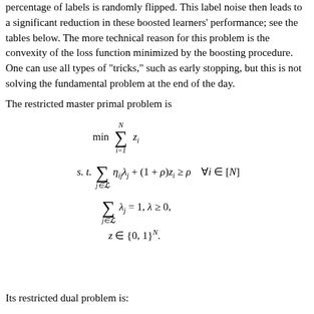the consider a 'hard' training data distribution, where a small percentage of labels is randomly flipped. This label noise then leads to a significant reduction in these boosted learners' performance; see the tables below. The more technical reason for this problem is the convexity of the loss function minimized by the boosting procedure. One can use all types of "tricks," such as early stopping, but this is not solving the fundamental problem at the end of the day.
The restricted master primal problem is
Its restricted dual problem is: